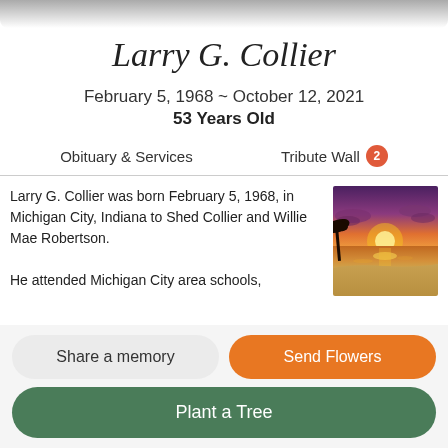Larry G. Collier
February 5, 1968 ~ October 12, 2021
53 Years Old
Obituary & Services   Tribute Wall 2
Larry G. Collier was born February 5, 1968, in Michigan City, Indiana to Shed Collier and Willie Mae Robertson.

He attended Michigan City area schools,
[Figure (photo): Sunset over ocean beach with purple and orange sky and palm trees silhouette]
Share a memory
Send Flowers
Plant a Tree